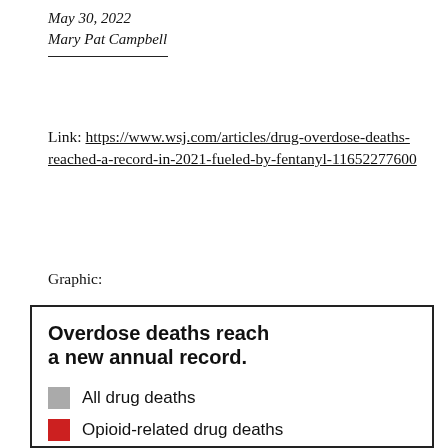May 30, 2022
Mary Pat Campbell
Link: https://www.wsj.com/articles/drug-overdose-deaths-reached-a-record-in-2021-fueled-by-fentanyl-11652277600
Graphic:
[Figure (other): Partial view of a chart titled 'Overdose deaths reach a new annual record.' with legend showing 'All drug deaths' (gray swatch) and 'Opioid-related drug deaths' (red swatch).]